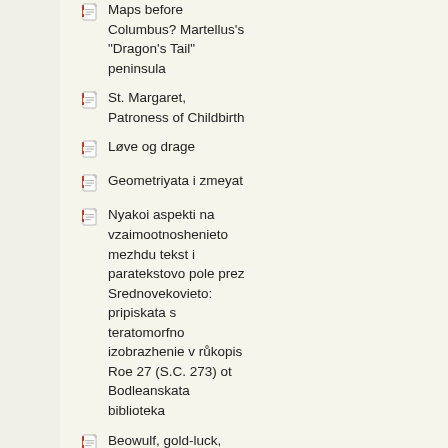Maps before Columbus? Martellus's "Dragon's Tail" peninsula
St. Margaret, Patroness of Childbirth
Løve og drage
Geometriyata i zmeyat
Nyakoi aspekti na vzaimootnoshenieto mezhdu tekst i paratekstovo pole prez Srednovekovieto: pripiskata s teratomorfno izobrazhenie v růkopis Roe 27 (S.C. 273) ot Bodleanskata biblioteka
Beowulf, gold-luck, and God's will
Za smisůla na edin grůtski nadpis ot ...